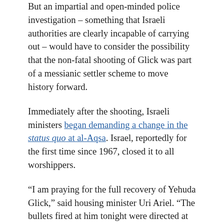But an impartial and open-minded police investigation – something that Israeli authorities are clearly incapable of carrying out – would have to consider the possibility that the non-fatal shooting of Glick was part of a messianic settler scheme to move history forward.
Immediately after the shooting, Israeli ministers began demanding a change in the status quo at al-Aqsa. Israel, reportedly for the first time since 1967, closed it to all worshippers.
“I am praying for the full recovery of Yehuda Glick,” said housing minister Uri Ariel. “The bullets fired at him tonight were directed at all the Jews that want to exercise their Jewish and moral right to visit the most holy place to the Jewish people and to pray at the Temple Mount.”
Some Palestinians fear that when it reopens, Israel could well seize the opportunity to impose a new situation in the name of